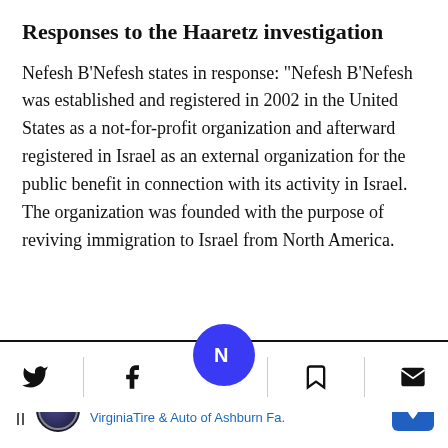Responses to the Haaretz investigation
Nefesh B'Nefesh states in response: "Nefesh B'Nefesh was established and registered in 2002 in the United States as a not-for-profit organization and afterward registered in Israel as an external organization for the public benefit in connection with its activity in Israel. The organization was founded with the purpose of reviving immigration to Israel from North America.
[Figure (other): Social sharing toolbar with Twitter, Facebook, Haaretz center logo button, bookmark, and email icons, separated by a horizontal divider line]
[Figure (other): Advertisement banner: Great Deal On Firestone Tires - VirginiaTire & Auto of Ashburn Fa.]